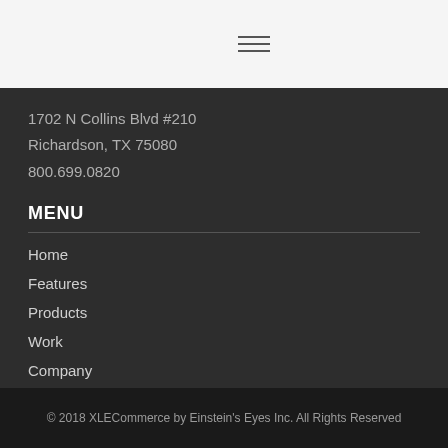[Figure (other): Hamburger menu icon (three horizontal lines)]
1702 N Collins Blvd #210
Richardson, TX 75080
800.699.0820
MENU
Home
Features
Products
Work
Company
Partners
Blog
© 2018 XLECommerce by Einstein's Eyes Inc. All Rights Reserved